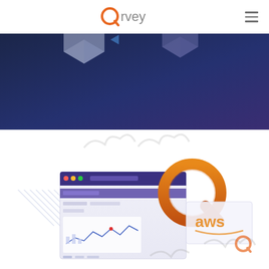[Figure (logo): Qrvey logo with orange Q circle and gray 'rvey' text in navigation header]
[Figure (illustration): Dark navy/purple gradient hero banner with isometric 3D geometric shapes (hexagonal data blocks) partially visible at top]
[Figure (illustration): White background section showing isometric illustration of Qrvey embedded analytics platform integrated with AWS, featuring dashboard screens with charts, the large orange Q logo, AWS branding text, decorative cloud shapes, and diagonal line accents]